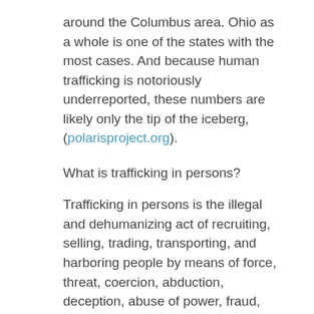around the Columbus area. Ohio as a whole is one of the states with the most cases. And because human trafficking is notoriously underreported, these numbers are likely only the tip of the iceberg, (polarisproject.org).
What is trafficking in persons?
Trafficking in persons is the illegal and dehumanizing act of recruiting, selling, trading, transporting, and harboring people by means of force, threat, coercion, abduction, deception, abuse of power, fraud, etc. for the purpose of exploitation. This includes, but is not limited to, the prostitution of others and other forced commercial sex acts, forced labor, slavery, servitude, forced begging, forced marriage, trafficking individuals as soldiers, for the removal of organs, and includes men, women and